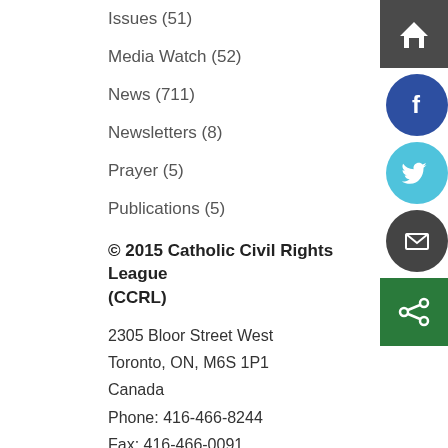Issues (51)
Media Watch (52)
News (711)
Newsletters (8)
Prayer (5)
Publications (5)
© 2015 Catholic Civil Rights League (CCRL)
2305 Bloor Street West
Toronto, ON, M6S 1P1
Canada
Phone: 416-466-8244
Fax: 416-466-0091
Toll Free: 1-844-722-2275
Contact Us